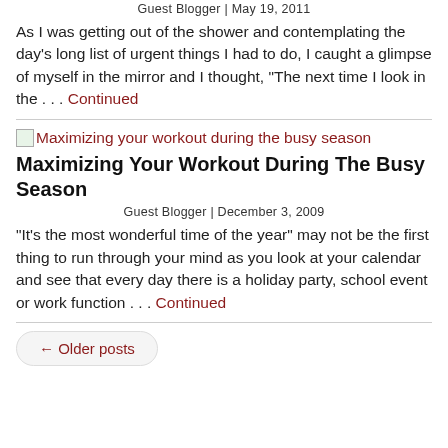Guest Blogger | May 19, 2011
As I was getting out of the shower and contemplating the day’s long list of urgent things I had to do, I caught a glimpse of myself in the mirror and I thought, “The next time I look in the . . . Continued
[Figure (illustration): Thumbnail image for 'Maximizing your workout during the busy season' article]
Maximizing Your Workout During The Busy Season
Guest Blogger | December 3, 2009
“It’s the most wonderful time of the year” may not be the first thing to run through your mind as you look at your calendar and see that every day there is a holiday party, school event or work function . . . Continued
← Older posts